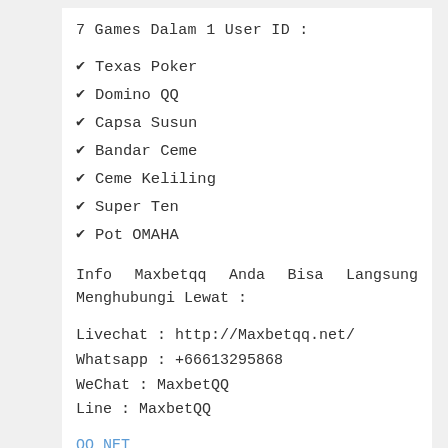7 Games Dalam 1 User ID :
Texas Poker
Domino QQ
Capsa Susun
Bandar Ceme
Ceme Keliling
Super Ten
Pot OMAHA
Info Maxbetqq Anda Bisa Langsung Menghubungi Lewat :
Livechat : http://Maxbetqq.net/
Whatsapp : +66613295868
WeChat : MaxbetQQ
Line : MaxbetQQ
QQ NET